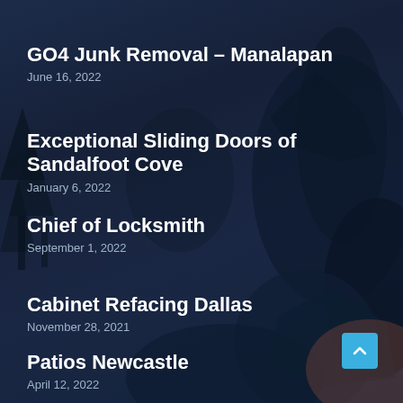GO4 Junk Removal – Manalapan
June 16, 2022
Exceptional Sliding Doors of Sandalfoot Cove
January 6, 2022
Chief of Locksmith
September 1, 2022
Cabinet Refacing Dallas
November 28, 2021
Patios Newcastle
April 12, 2022